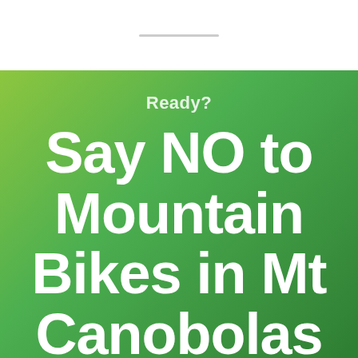Ready?
Say NO to Mountain Bikes in Mt Canobolas State